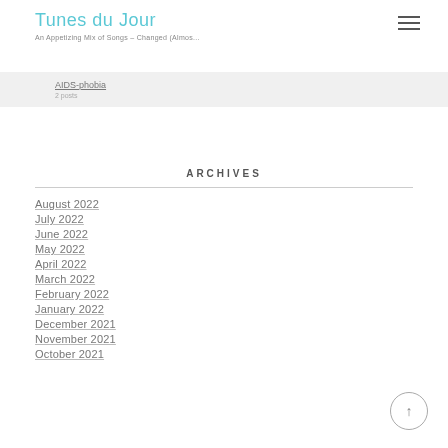Tunes du Jour
An Appetizing Mix of Songs - Changed (Almos...
AIDS-phobia
ARCHIVES
August 2022
July 2022
June 2022
May 2022
April 2022
March 2022
February 2022
January 2022
December 2021
November 2021
October 2021